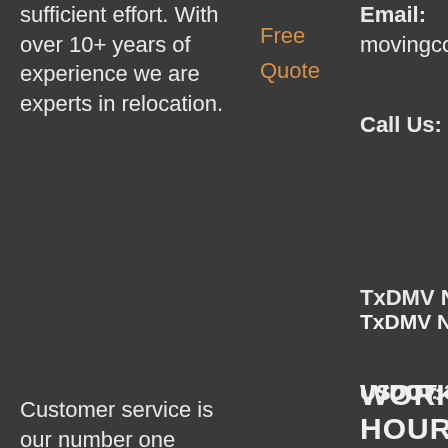sufficient effort. With over 10+ years of experience we are experts in relocation.
Customer service is our number one priority. Relocating your most precious
Free Quote
Email: movingcompany
Call Us: (972) 528-0385
TxDMV No. 009567347C
USDOT: 3918729
TxDMV Toll-Free 1-888-368-4689
WORKING HOURS